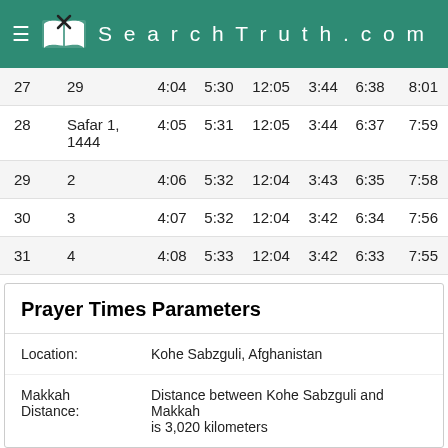SearchTruth.com
| Day | Hijri | Fajr | Sunrise | Dhuhr | Asr | Maghrib | Isha |
| --- | --- | --- | --- | --- | --- | --- | --- |
| 27 | 29 | 4:04 | 5:30 | 12:05 | 3:44 | 6:38 | 8:01 |
| 28 | Safar 1, 1444 | 4:05 | 5:31 | 12:05 | 3:44 | 6:37 | 7:59 |
| 29 | 2 | 4:06 | 5:32 | 12:04 | 3:43 | 6:35 | 7:58 |
| 30 | 3 | 4:07 | 5:32 | 12:04 | 3:42 | 6:34 | 7:56 |
| 31 | 4 | 4:08 | 5:33 | 12:04 | 3:42 | 6:33 | 7:55 |
Prayer Times Parameters
Location: Kohe Sabzguli, Afghanistan
Makkah Distance: Distance between Kohe Sabzguli and Makkah is 3,020 kilometers